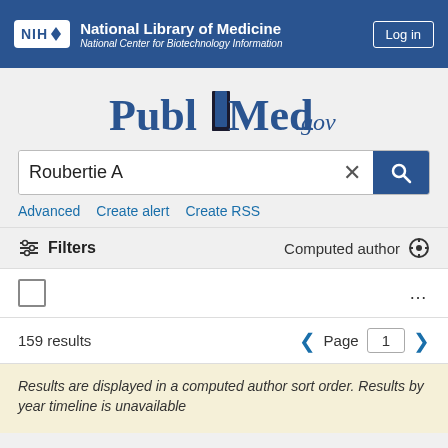NIH National Library of Medicine National Center for Biotechnology Information | Log in
[Figure (logo): PubMed.gov logo with bookmark icon]
Roubertie A
Advanced   Create alert   Create RSS
☰ Filters   Computed author ⚙
159 results   Page 1
Results are displayed in a computed author sort order. Results by year timeline is unavailable